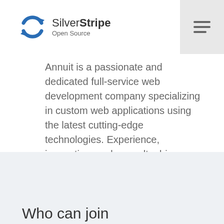[Figure (logo): SilverStripe Open Source logo with circular arrow icon]
Annuit is a passionate and dedicated full-service web development company specializing in custom web applications using the latest cutting-edge technologies. Experience, innovation, and a results driven mentality meld together to bring you the best solutions.
Who can join